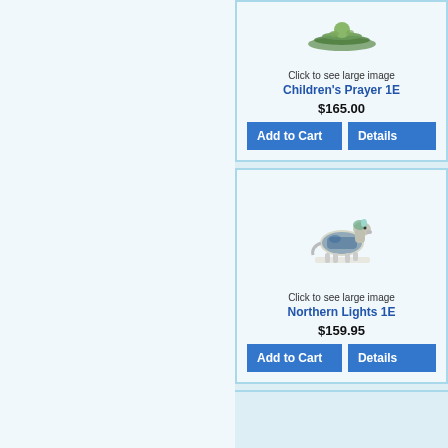[Figure (illustration): Small decorative figurine/sculpture product image for Children's Prayer 1E]
Click to see large image
Children's Prayer 1E
$165.00
Add to Cart
Details
[Figure (illustration): Decorative horse figurine painted with scenic landscape — Northern Lights 1E product image]
Click to see large image
Northern Lights 1E
$159.95
Add to Cart
Details